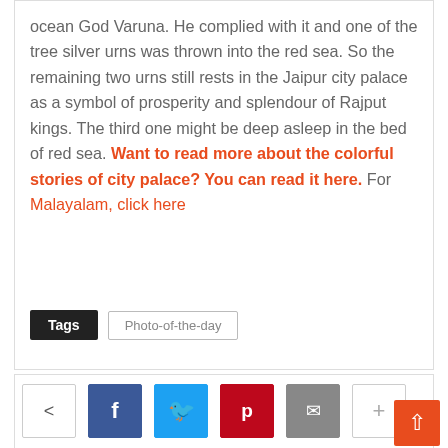ocean God Varuna. He complied with it and one of the tree silver urns was thrown into the red sea. So the remaining two urns still rests in the Jaipur city palace as a symbol of prosperity and splendour of Rajput kings. The third one might be deep asleep in the bed of red sea. Want to read more about the colorful stories of city palace? You can read it here. For Malayalam, click here
Tags  Photo-of-the-day
[Figure (other): Social share buttons: share icon (outline), Facebook (blue), Twitter (cyan), Pinterest (red), Email (gray), More/Plus (light gray outlined)]
[Figure (photo): Author avatar thumbnail, circular photo]
Salini Vineeth